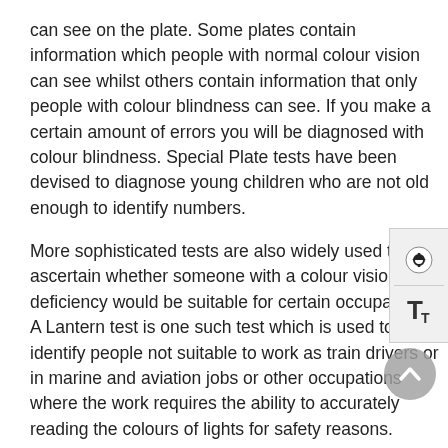can see on the plate. Some plates contain information which people with normal colour vision can see whilst others contain information that only people with colour blindness can see. If you make a certain amount of errors you will be diagnosed with colour blindness. Special Plate tests have been devised to diagnose young children who are not old enough to identify numbers.
More sophisticated tests are also widely used to ascertain whether someone with a colour vision deficiency would be suitable for certain occupations. A Lantern test is one such test which is used to identify people not suitable to work as train drivers or in marine and aviation jobs or other occupations where the work requires the ability to accurately reading the colours of lights for safety reasons.
At www.colorvisiontesting.com you can find an initial test for colour blindness on the screen.